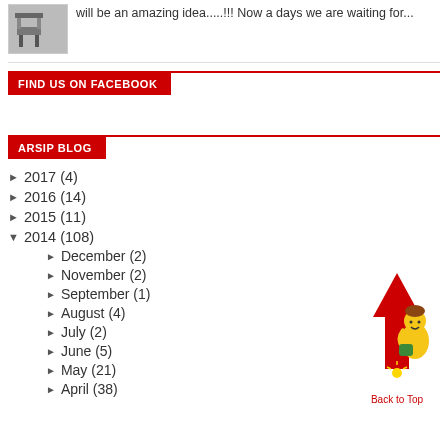[Figure (photo): Thumbnail image of furniture/chairs]
will be an amazing idea.....!!! Now a days we are waiting for...
FIND US ON FACEBOOK
ARSIP BLOG
► 2017 (4)
► 2016 (14)
► 2015 (11)
▼ 2014 (108)
► December (2)
► November (2)
► September (1)
► August (4)
► July (2)
► June (5)
► May (21)
► April (38)
[Figure (illustration): Back to Top illustration — cartoon child climbing a red arrow/rocket pointing up, with 'Back to Top' label]